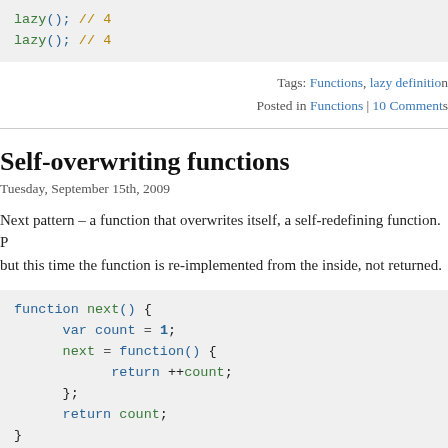lazy(); // 4
lazy(); // 4
Tags: Functions, lazy definition
Posted in Functions | 10 Comments
Self-overwriting functions
Tuesday, September 15th, 2009
Next pattern – a function that overwrites itself, a self-redefining function. P... but this time the function is re-implemented from the inside, not returned.
function next() {
    var count = 1;
    next = function() {
        return ++count;
    };
    return count;
}
next(); // 1
next(); // 2
Tags: Functions, overwriting, self-de...